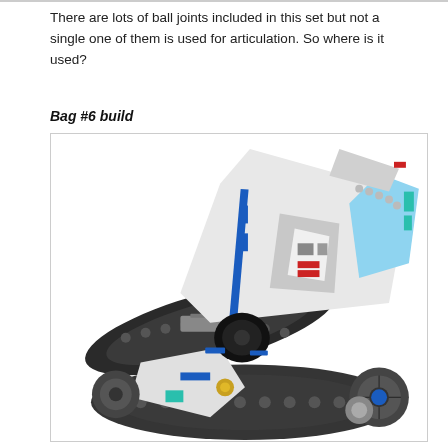There are lots of ball joints included in this set but not a single one of them is used for articulation. So where is it used?
Bag #6 build
[Figure (photo): A LEGO Technic model featuring tank treads and a spacecraft-like upper section in white, light blue, gray, and blue colors. The model appears to be a transforming or hybrid vehicle with tracked wheels and a pointed futuristic top section with red accent pieces.]